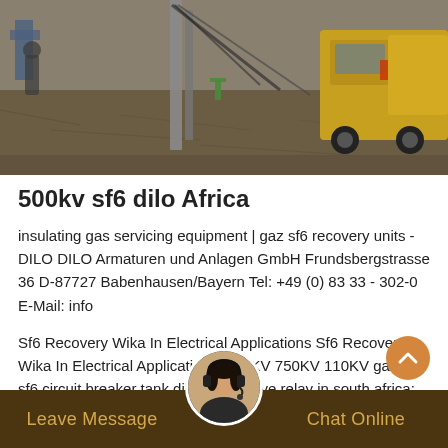[Figure (photo): Construction site photo showing drilling or ground work equipment, including a yellow truck and metal poles/pipes on cracked dirt ground.]
500kv sf6 dilo Africa
insulating gas servicing equipment | gaz sf6 recovery units - DILO DILO Armaturen und Anlagen GmbH Frundsbergstrasse 36 D-87727 Babenhausen/Bayern Tel: +49 (0) 83 33 - 302-0 E-Mail: info
Sf6 Recovery Wika In Electrical Applications Sf6 Recovery Wika In Electrical Applications. 500KV 750KV 110KV gaz sf6 sf6 circuit breaker tank dilo price; valve relay in south africa; sf6 mixture EVACUATION
[Figure (photo): Customer service representative avatar — circular photo of a woman wearing a headset, used as a chat widget icon.]
Leave Message   Chat Online